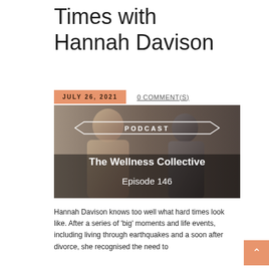Times with Hannah Davison
JULY 26, 2021   0 COMMENT(S)
[Figure (photo): Podcast cover image for The Wellness Collective Episode 146, showing two women smiling, with overlay text: PODCAST, The Wellness Collective, Episode 146]
Hannah Davison knows too well what hard times look like. After a series of 'big' moments and life events, including living through earthquakes and a soon after divorce, she recognised the need to